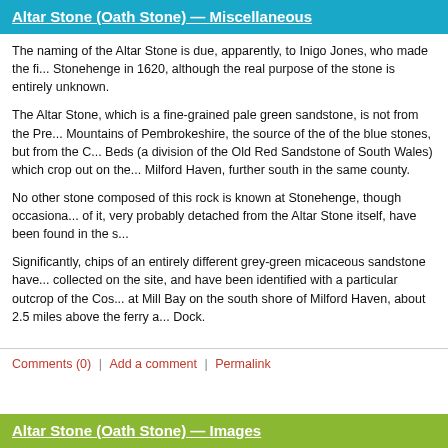Altar Stone (Oath Stone) — Miscellaneous
The naming of the Altar Stone is due, apparently, to Inigo Jones, who made the fi... Stonehenge in 1620, although the real purpose of the stone is entirely unknown.
The Altar Stone, which is a fine-grained pale green sandstone, is not from the Pre... Mountains of Pembrokeshire, the source of the of the blue stones, but from the C... Beds (a division of the Old Red Sandstone of South Wales) which crop out on the... Milford Haven, further south in the same county.
No other stone composed of this rock is known at Stonehenge, though occasiona... of it, very probably detached from the Altar Stone itself, have been found in the s...
Significantly, chips of an entirely different grey-green micaceous sandstone have... collected on the site, and have been identified with a particular outcrop of the Cos... at Mill Bay on the south shore of Milford Haven, about 2.5 miles above the ferry a... Dock.
Comments (0)  |  Add a comment  |  Permalink
Altar Stone (Oath Stone) — Images